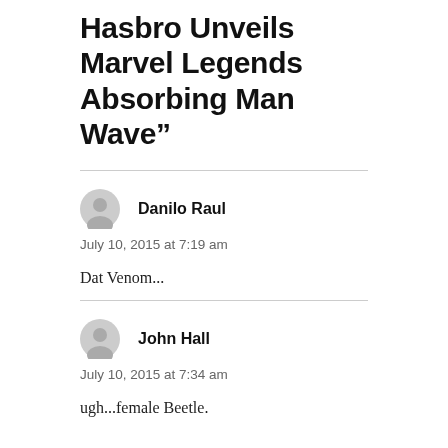Hasbro Unveils Marvel Legends Absorbing Man Wave”
Danilo Raul
July 10, 2015 at 7:19 am
Dat Venom...
John Hall
July 10, 2015 at 7:34 am
ugh...female Beetle.